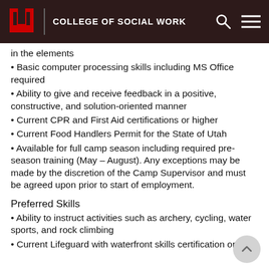COLLEGE OF SOCIAL WORK
in the elements
Basic computer processing skills including MS Office required
Ability to give and receive feedback in a positive, constructive, and solution-oriented manner
Current CPR and First Aid certifications or higher
Current Food Handlers Permit for the State of Utah
Available for full camp season including required pre-season training (May – August). Any exceptions may be made by the discretion of the Camp Supervisor and must be agreed upon prior to start of employment.
Preferred Skills
Ability to instruct activities such as archery, cycling, water sports, and rock climbing
Current Lifeguard with waterfront skills certification or